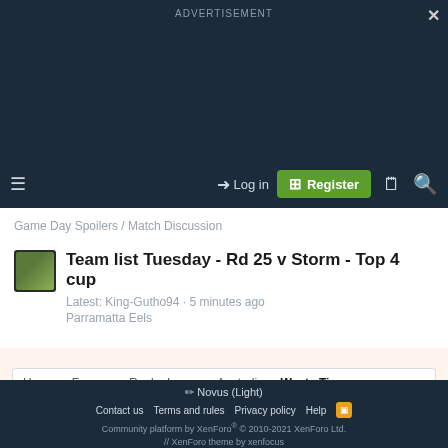ADVERTISEMENT
≡  Log in  Register
Game Day Spoilers / Match Discussion
Team list Tuesday - Rd 25 v Storm - Top 4 cup
Latest: King-Gutho94 · 5 minutes ago
Parramatta Eels
Home › Forums › Rugby League - Australia › Wests Tigers
✏ Novus (Light)
Contact us   Terms and rules   Privacy policy   Help
Community platform by XenForo® © 2010-2021 XenForo Ltd. // XenForo theme by xenfocus